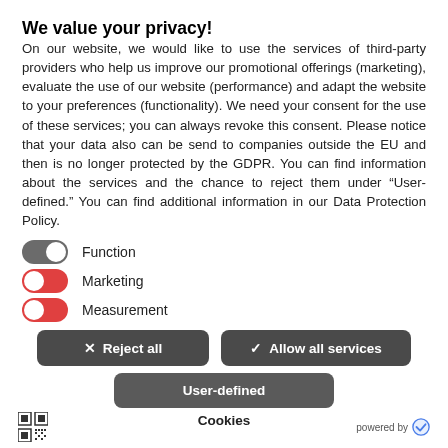We value your privacy!
On our website, we would like to use the services of third-party providers who help us improve our promotional offerings (marketing), evaluate the use of our website (performance) and adapt the website to your preferences (functionality). We need your consent for the use of these services; you can always revoke this consent. Please notice that your data also can be send to companies outside the EU and then is no longer protected by the GDPR. You can find information about the services and the chance to reject them under “User-defined.” You can find additional information in our Data Protection Policy.
Function (toggle: on/gray)
Marketing (toggle: off/red)
Measurement (toggle: off/red)
✕ Reject all
✓ Allow all services
User-defined
Cookies
powered by